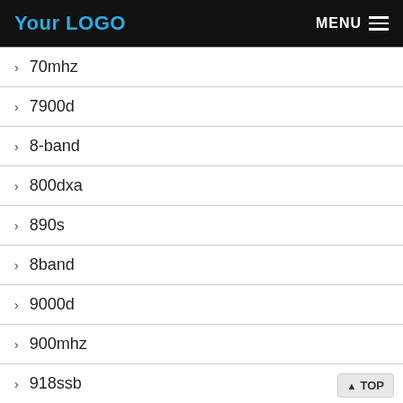Your LOGO   MENU
> 70mhz
> 7900d
> 8-band
> 800dxa
> 890s
> 8band
> 9000d
> 900mhz
> 918ssb
> 980plus
> abbree